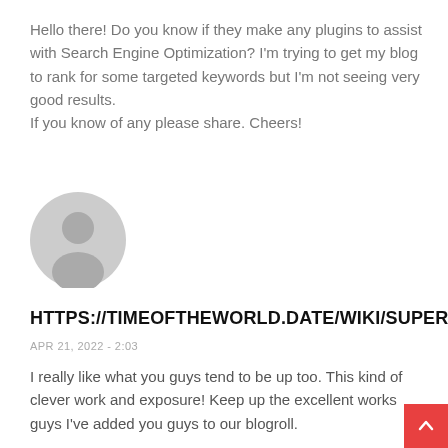Hello there! Do you know if they make any plugins to assist with Search Engine Optimization? I'm trying to get my blog to rank for some targeted keywords but I'm not seeing very good results.
If you know of any please share. Cheers!
[Figure (illustration): Grey circular avatar icon showing a generic user silhouette]
HTTPS://TIMEOFTHEWORLD.DATE/WIKI/SUPERE
APR 21, 2022 - 2:03
I really like what you guys tend to be up too. This kind of clever work and exposure! Keep up the excellent works guys I've added you guys to our blogroll.